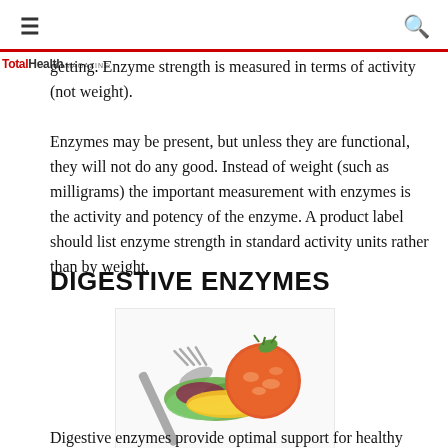≡  [TotalHealth MAGAZINE]  🔍
getting. Enzyme strength is measured in terms of activity (not weight).
Enzymes may be present, but unless they are functional, they will not do any good. Instead of weight (such as milligrams) the important measurement with enzymes is the activity and potency of the enzyme. A product label should list enzyme strength in standard activity units rather than by weight.
DIGESTIVE ENZYMES
[Figure (photo): A fork holding a colorful salad with tomato, yellow pepper, and green lettuce on a white background]
Digestive enzymes provide optimal support for healthy